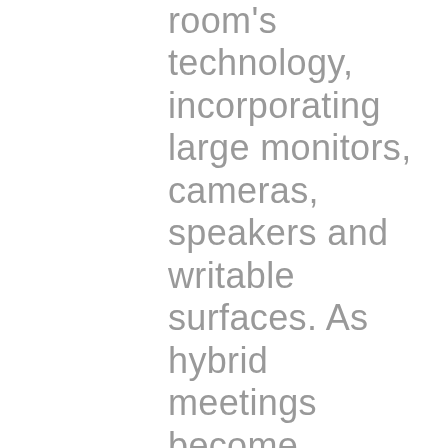room's technology, incorporating large monitors, cameras, speakers and writable surfaces. As hybrid meetings become increasingly more common, the conference center accommodates people both in person and virtually and facilitates greater connection and collaboration. Custom millwork provides additional storage for supplies and AV and also serves as a buffet for catering and snacks. With flexible manufactured